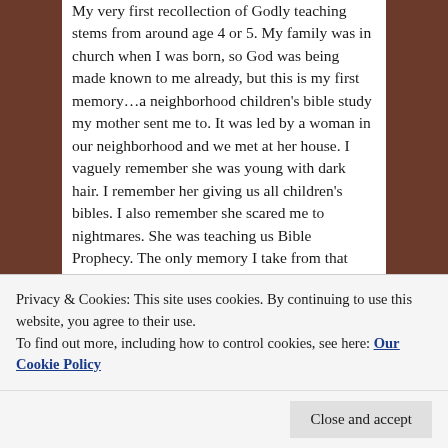My very first recollection of Godly teaching stems from around age 4 or 5. My family was in church when I was born, so God was being made known to me already, but this is my first memory…a neighborhood children's bible study my mother sent me to. It was led by a woman in our neighborhood and we met at her house. I vaguely remember she was young with dark hair. I remember her giving us all children's bibles. I also remember she scared me to nightmares. She was teaching us Bible Prophecy. The only memory I take from that event was her telling us that Jesus was coming at any moment… and one would be taken and one would be left. In my child brain, that boiled down to either me or my brother. I had no idea if I was supposed to want to be
Privacy & Cookies: This site uses cookies. By continuing to use this website, you agree to their use. To find out more, including how to control cookies, see here: Our Cookie Policy
Close and accept
me, because I've been interested in prophecy and the